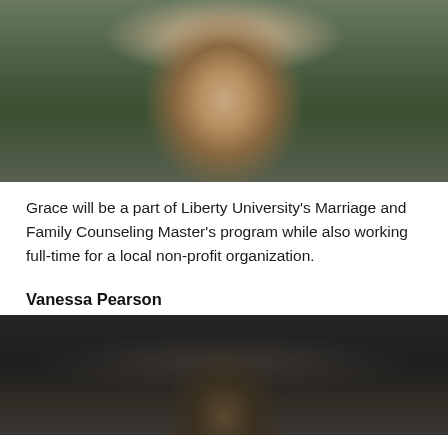[Figure (photo): Young woman with glasses and long brown hair, smiling, wearing a green cable-knit turtleneck sweater, standing outdoors in front of a brick building with grass in the background]
Grace will be a part of Liberty University's Marriage and Family Counseling Master's program while also working full-time for a local non-profit organization.
Vanessa Pearson
[Figure (photo): Partial photo of Vanessa Pearson, dark background with curtains visible, person partially visible at bottom of frame]